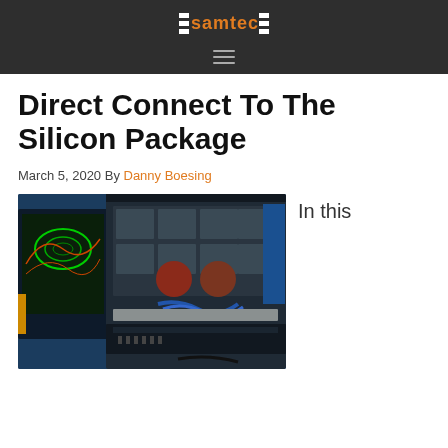samtec
Direct Connect To The Silicon Package
March 5, 2020 By Danny Boesing
[Figure (photo): Photo of electronic test equipment/silicon package hardware in a rack enclosure, with a monitor displaying S-parameter plots in the background. Blue lighting visible.]
In this